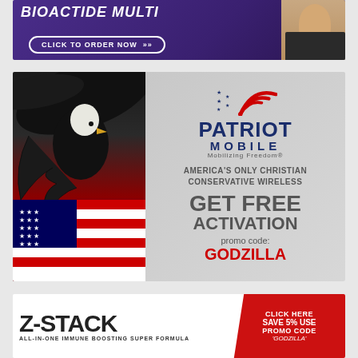[Figure (illustration): BioActide Multi advertisement banner with purple background, 'CLICK TO ORDER NOW' button, and man in suit on right side]
[Figure (illustration): Patriot Mobile advertisement featuring bald eagle with American flag, logo with wifi arcs, text: AMERICA'S ONLY CHRISTIAN CONSERVATIVE WIRELESS, GET FREE ACTIVATION, promo code: GODZILLA]
[Figure (illustration): Z-Stack advertisement with large bold Z-STACK text, ALL-IN-ONE IMMUNE BOOSTING SUPER FORMULA, red badge CLICK HERE SAVE 5% USE PROMO CODE 'GODZILLA']